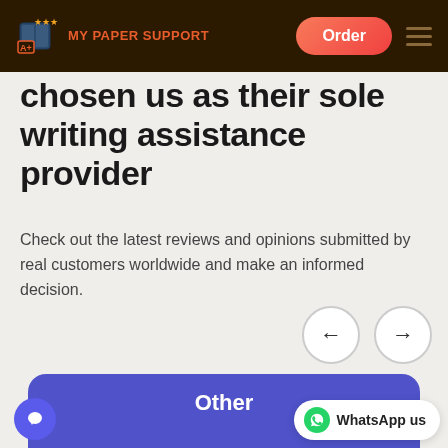MY PAPER SUPPORT — Order
chosen us as their sole writing assistance provider
Check out the latest reviews and opinions submitted by real customers worldwide and make an informed decision.
[Figure (other): Left and right navigation arrow buttons (circular outline buttons)]
[Figure (other): Blue card section with title 'Other' and star ratings at bottom, chat bubble icon and WhatsApp us button]